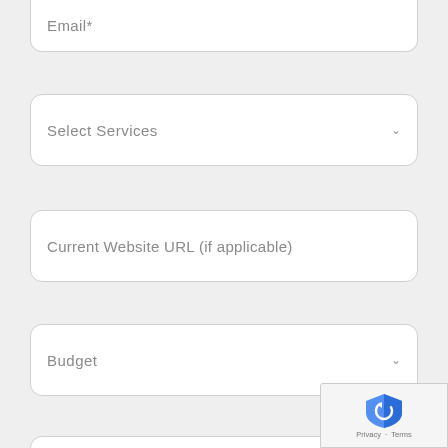Email*
Select Services
Current Website URL (if applicable)
Budget
Tell us more about your vision
[Figure (other): reCAPTCHA badge with shield logo and Privacy/Terms links]